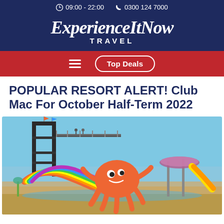09:00 - 22:00  0300 124 7000
ExperienceItNow TRAVEL
Top Deals
POPULAR RESORT ALERT! Club Mac For October Half-Term 2022
[Figure (photo): Waterpark with colourful slides, a large red octopus inflatable, water ride structures under a blue sky]